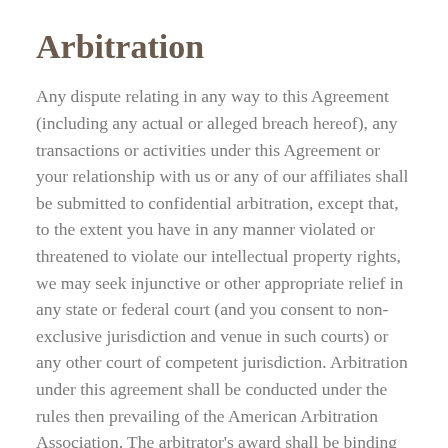Arbitration
Any dispute relating in any way to this Agreement (including any actual or alleged breach hereof), any transactions or activities under this Agreement or your relationship with us or any of our affiliates shall be submitted to confidential arbitration, except that, to the extent you have in any manner violated or threatened to violate our intellectual property rights, we may seek injunctive or other appropriate relief in any state or federal court (and you consent to non-exclusive jurisdiction and venue in such courts) or any other court of competent jurisdiction. Arbitration under this agreement shall be conducted under the rules then prevailing of the American Arbitration Association. The arbitrator's award shall be binding and may be entered as a judgment in any court of competent jurisdiction. To the fullest extent permitted by applicable law, no arbitration under this Agreement shall be joined to an arbitration involving any other party subject to